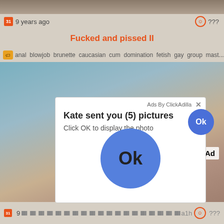[Figure (screenshot): Top portion of video thumbnail cropped at top of page]
9 years ago
???
Fucked and pissed II
anal  blowjob  brunette  caucasian  cum  domination  fetish  gay  group  mast...
[Figure (screenshot): Video player area showing persons in a scene, with an overlay ad popup. The popup says 'Ads By ClickAdilla' with an X close button, then 'Kate sent you (5) pictures' in bold, 'Click OK to display the photo' in smaller text, a small blue Ok button top right of popup, and a large blue circle Ok button in the center of the popup.]
[x] Close Ad
Ads By ClickAdilla
Kate sent you (5) pictures
Click OK to display the photo
Ok
Ok
9
a1h
???